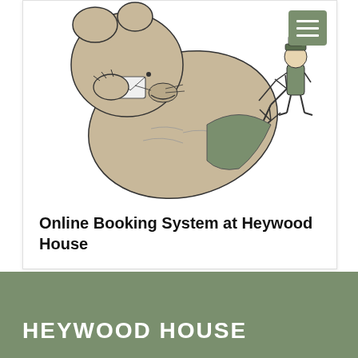[Figure (illustration): A whimsical ink and watercolor illustration of a large bear-like creature in a trenchcoat lying on its back, with bird-like legs in the air, holding an envelope. A small figure in a green jacket and hat stands nearby. A green hamburger menu icon is in the top-right corner of the card.]
Online Booking System at Heywood House
HEYWOOD HOUSE